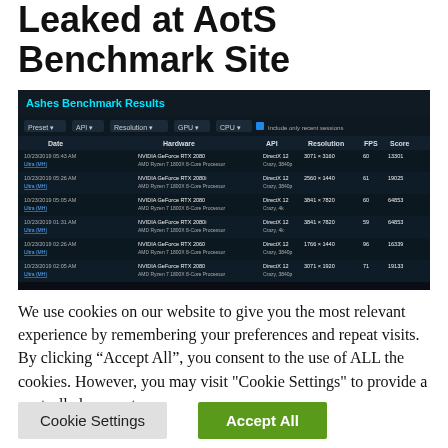Leaked at AotS Benchmark Site
[Figure (screenshot): Screenshot of Ashes Benchmark Results website showing a table with NVIDIA GeForce RTX 2000-series GPU benchmark entries including columns for Date, Hardware, API, Resolution, FPS, and Score. Multiple rows show AMD Ryzen 7 1800X 8-Core Processor entries with DirectX 12 results.]
We use cookies on our website to give you the most relevant experience by remembering your preferences and repeat visits. By clicking “Accept All”, you consent to the use of ALL the cookies. However, you may visit "Cookie Settings" to provide a controlled consent.
Cookie Settings
Accept All